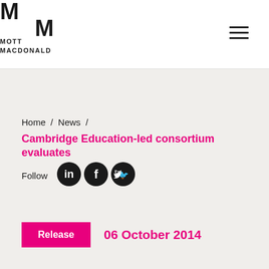[Figure (logo): Mott MacDonald logo with two M letters and company name text]
Home / News / Cambridge Education-led consortium evaluates
Follow
[Figure (illustration): Social media icons: LinkedIn, Facebook, Twitter]
Release
06 October 2014